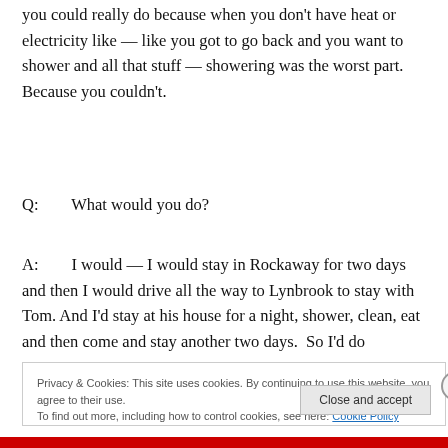you could really do because when you don't have heat or electricity like — like you got to go back and you want to shower and all that stuff — showering was the worst part. Because you couldn't.
Q:        What would you do?
A:        I would — I would stay in Rockaway for two days and then I would drive all the way to Lynbrook to stay with Tom. And I'd stay at his house for a night, shower, clean, eat and then come and stay another two days.  So I'd do
Privacy & Cookies: This site uses cookies. By continuing to use this website, you agree to their use.
To find out more, including how to control cookies, see here: Cookie Policy